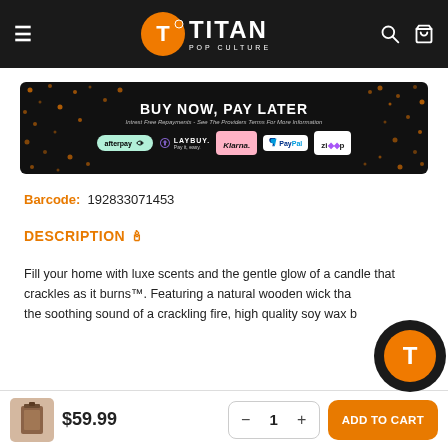≡  TITAN POP CULTURE  🔍 🛒
[Figure (infographic): Buy Now Pay Later banner with payment logos: afterpay, LAYBUY, Klarna, PayPal, Zip. Text: BUY NOW, PAY LATER. Interest Free Repayments - See The Providers Terms For More Information.]
Barcode: 192833071453
DESCRIPTION 🕯
Fill your home with luxe scents and the gentle glow of a candle that crackles as it burns™. Featuring a natural wooden wick that creates the soothing sound of a crackling fire, high quality soy wax b...